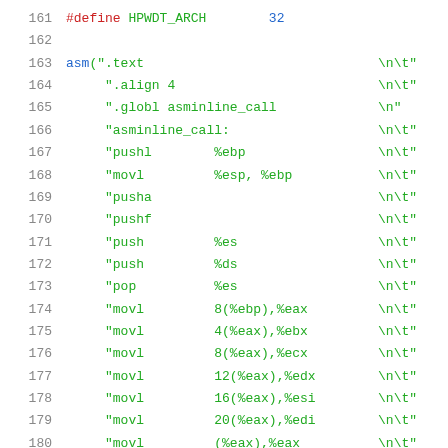161  #define HPWDT_ARCH    32
162
163  asm(".text \n\t"
164       ".align 4 \n\t"
165       ".globl asminline_call \n"
166       "asminline_call: \n\t"
167       "pushl    %ebp \n\t"
168       "movl     %esp, %ebp \n\t"
169       "pusha \n\t"
170       "pushf \n\t"
171       "push     %es \n\t"
172       "push     %ds \n\t"
173       "pop      %es \n\t"
174       "movl     8(%ebp),%eax \n\t"
175       "movl     4(%eax),%ebx \n\t"
176       "movl     8(%eax),%ecx \n\t"
177       "movl     12(%eax),%edx \n\t"
178       "movl     16(%eax),%esi \n\t"
179       "movl     20(%eax),%edi \n\t"
180       "movl     (%eax),%eax \n\t"
181       "push     %cs \n\t"